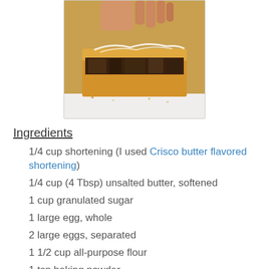[Figure (photo): A hand holding a s'mores-style cookie bar with chocolate filling, resting on a white plate.]
Ingredients
1/4 cup shortening (I used Crisco butter flavored shortening)
1/4 cup (4 Tbsp) unsalted butter, softened
1 cup granulated sugar
1 large egg, whole
2 large eggs, separated
1 1/2 cup all-purpose flour
1 tsp baking powder
1/4 tsp kosher salt
1 1/2 cups mini marshmallows
3/4 cup mini chocolate chips